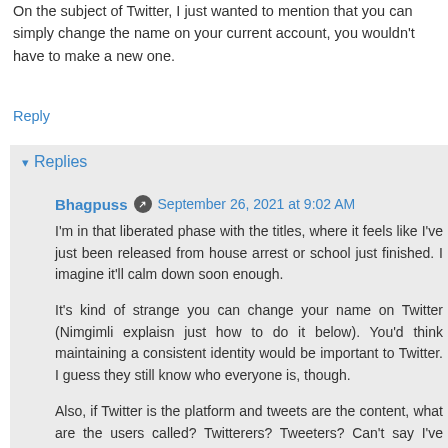On the subject of Twitter, I just wanted to mention that you can simply change the name on your current account, you wouldn't have to make a new one.
Reply
Replies
Bhagpuss  September 26, 2021 at 9:02 AM
I'm in that liberated phase with the titles, where it feels like I've just been released from house arrest or school just finished. I imagine it'll calm down soon enough.
It's kind of strange you can change your name on Twitter (Nimgimli explaisn just how to do it below). You'd think maintaining a consistent identity would be important to Twitter. I guess they still know who everyone is, though.
Also, if Twitter is the platform and tweets are the content, what are the users called? Twitterers? Tweeters? Can't say I've ever heard a term used